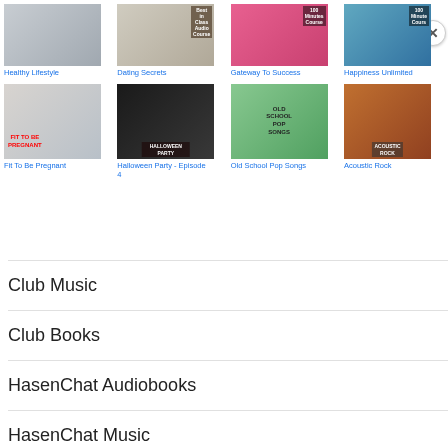[Figure (screenshot): Grid of thumbnail images row 1: Healthy Lifestyle, Dating Secrets, Gateway To Success, Happiness Unlimited]
[Figure (screenshot): Grid of thumbnail images row 2: Fit To Be Pregnant, Halloween Party - Episode 4, Old School Pop Songs, Acoustic Rock]
Club Music
Club Books
HasenChat Audiobooks
HasenChat Music